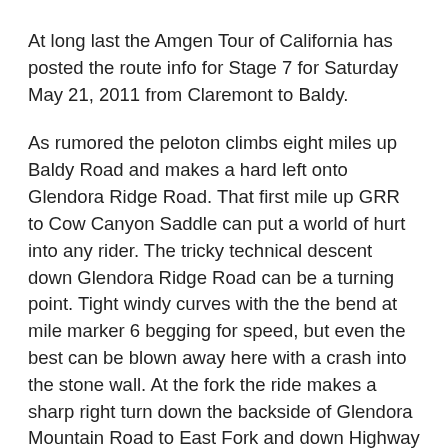At long last the Amgen Tour of California has posted the route info for Stage 7 for Saturday May 21, 2011 from Claremont to Baldy.
As rumored the peloton climbs eight miles up Baldy Road and makes a hard left onto Glendora Ridge Road. That first mile up GRR to Cow Canyon Saddle can put a world of hurt into any rider. The tricky technical descent down Glendora Ridge Road can be a turning point. Tight windy curves with the the bend at mile marker 6 begging for speed, but even the best can be blown away here with a crash into the stone wall. At the fork the ride makes a sharp right turn down the backside of Glendora Mountain Road to East Fork and down Highway 39. They cruise along Sierra Madre with those two European like roundabouts with the nasty gutter edges of half an inch lining the road. Expect some crashes along the way.
At the edge of the city they race down Grand Avenue to Foothill Avenue and back up Glendora Avenue to enjoy the bucolic nature of our quaint downtown promenade. They